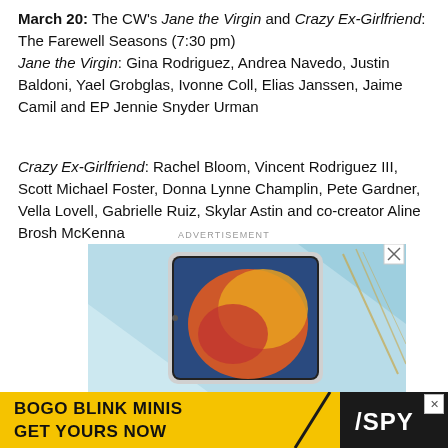March 20: The CW's Jane the Virgin and Crazy Ex-Girlfriend: The Farewell Seasons (7:30 pm) Jane the Virgin: Gina Rodriguez, Andrea Navedo, Justin Baldoni, Yael Grobglas, Ivonne Coll, Elias Janssen, Jaime Camil and EP Jennie Snyder Urman
Crazy Ex-Girlfriend: Rachel Bloom, Vincent Rodriguez III, Scott Michael Foster, Donna Lynne Champlin, Pete Gardner, Vella Lovell, Gabrielle Ruiz, Skylar Astin and co-creator Aline Brosh McKenna
ADVERTISEMENT
[Figure (photo): Advertisement showing an iPad tablet with colorful abstract wallpaper on a light blue geometric background]
[Figure (photo): BOGO BLINK MINIS GET YOURS NOW advertisement banner with SPY logo on yellow background]